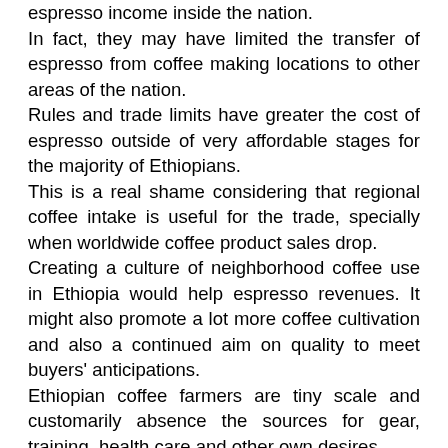espresso income inside the nation. In fact, they may have limited the transfer of espresso from coffee making locations to other areas of the nation. Rules and trade limits have greater the cost of espresso outside of very affordable stages for the majority of Ethiopians. This is a real shame considering that regional coffee intake is useful for the trade, specially when worldwide coffee product sales drop. Creating a culture of neighborhood coffee use in Ethiopia would help espresso revenues. It might also promote a lot more coffee cultivation and also a continued aim on quality to meet buyers' anticipations. Ethiopian coffee farmers are tiny scale and customarily absence the sources for gear, training, health care and other own desires. However, they know the trade and reward drastically